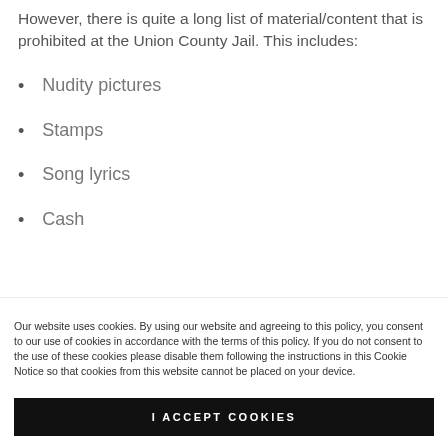However, there is quite a long list of material/content that is prohibited at the Union County Jail. This includes:
Nudity pictures
Stamps
Song lyrics
Cash
Our website uses cookies. By using our website and agreeing to this policy, you consent to our use of cookies in accordance with the terms of this policy. If you do not consent to the use of these cookies please disable them following the instructions in this Cookie Notice so that cookies from this website cannot be placed on your device.
I ACCEPT COOKIES